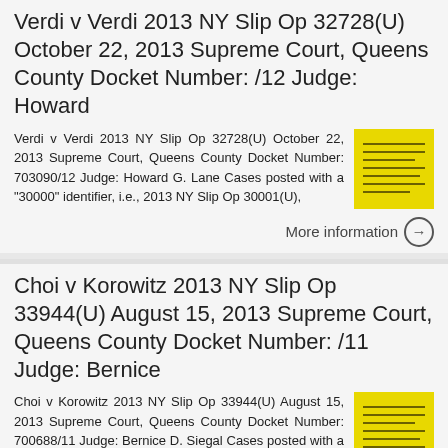Verdi v Verdi 2013 NY Slip Op 32728(U) October 22, 2013 Supreme Court, Queens County Docket Number: /12 Judge: Howard
Verdi v Verdi 2013 NY Slip Op 32728(U) October 22, 2013 Supreme Court, Queens County Docket Number: 703090/12 Judge: Howard G. Lane Cases posted with a "30000" identifier, i.e., 2013 NY Slip Op 30001(U),
More information
Choi v Korowitz 2013 NY Slip Op 33944(U) August 15, 2013 Supreme Court, Queens County Docket Number: /11 Judge: Bernice
Choi v Korowitz 2013 NY Slip Op 33944(U) August 15, 2013 Supreme Court, Queens County Docket Number: 700688/11 Judge: Bernice D. Siegal Cases posted with a "30000" identifier, i.e., 2013 NY Slip Op 30001(U),